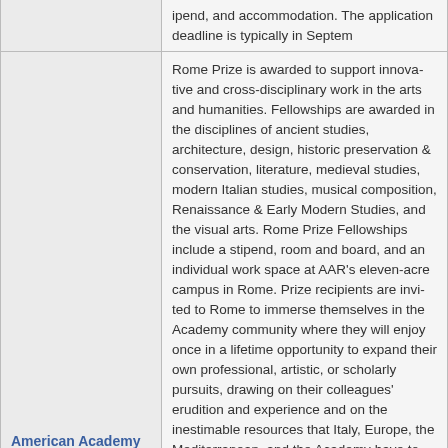ipend, and accommodation. The application deadline is typically in September.
American Academy in Rome - Rome Prize
Rome Prize is awarded to support innovative and cross-disciplinary work in the arts and humanities. Fellowships are awarded in the disciplines of ancient studies, architecture, design, historic preservation & conservation, literature, medieval studies, modern Italian studies, musical composition, Renaissance & Early Modern Studies, and the visual arts. Rome Prize Fellowships include a stipend, room and board, and an individual work space at AAR's eleven-acre campus in Rome. Prize recipients are invited to Rome to immerse themselves in the Academy community where they will enjoy a once in a lifetime opportunity to expand their own professional, artistic, or scholarly pursuits, drawing on their colleagues' erudition and experience and on the inestimable resources that Italy, Europe, the Mediterranean, and the Academy have to offer. Fellowships are offered for full or half terms. The application deadline is in November. AAR offers several other fellowships/residencies. Please consult https://www.aarome.org/apply for further information.
Short Term Fellowships: The America...